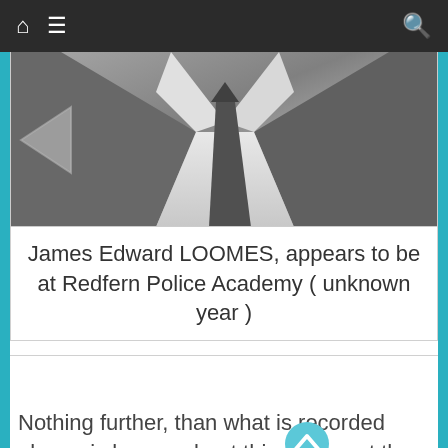Navigation bar with home, menu, and search icons
[Figure (photo): Black and white photograph of a man in a suit and tie, cropped at the chest level, with a left-pointing arrow overlay on the left side of the image]
James Edward LOOMES, appears to be at Redfern Police Academy ( unknown year )
Nothing further, than what is recorded above, is known about this person at the time of publication and